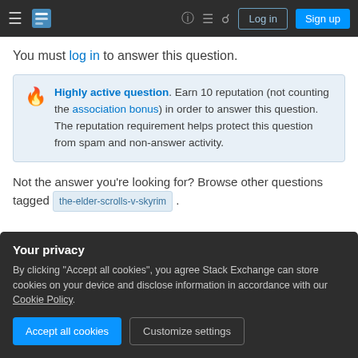Stack Exchange navigation bar with Log in and Sign up buttons
You must log in to answer this question.
Highly active question. Earn 10 reputation (not counting the association bonus) in order to answer this question. The reputation requirement helps protect this question from spam and non-answer activity.
Not the answer you're looking for? Browse other questions tagged the-elder-scrolls-v-skyrim .
Your privacy
By clicking "Accept all cookies", you agree Stack Exchange can store cookies on your device and disclose information in accordance with our Cookie Policy.
Accept all cookies   Customize settings